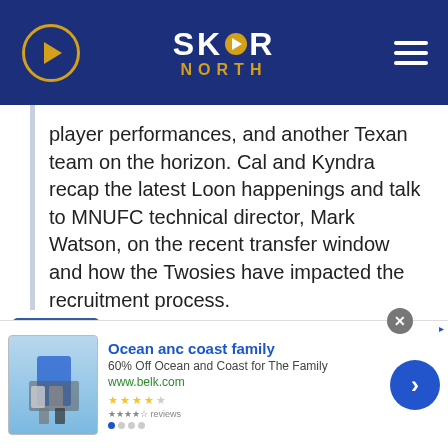SKOR NORTH
player performances, and another Texan team on the horizon. Cal and Kyndra recap the latest Loon happenings and talk to MNUFC technical director, Mark Watson, on the recent transfer window and how the Twosies have impacted the recruitment process.
Episode 191 – A Wolff Among Loons
AUGUST 19, 2022
A successful match in Music City, the MLS All-
Ocean anc coast family
60% Off Ocean and Coast for The Family
www.belk.com